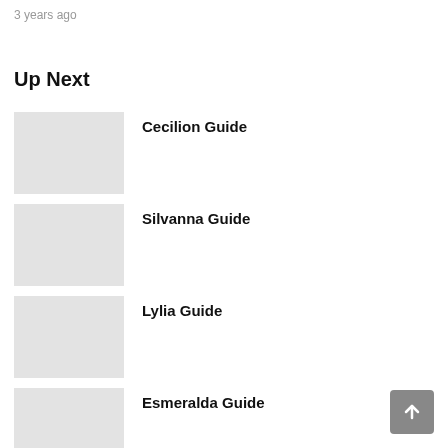3 years ago
Up Next
Cecilion Guide
Silvanna Guide
Lylia Guide
Esmeralda Guide
Guinevere Guide